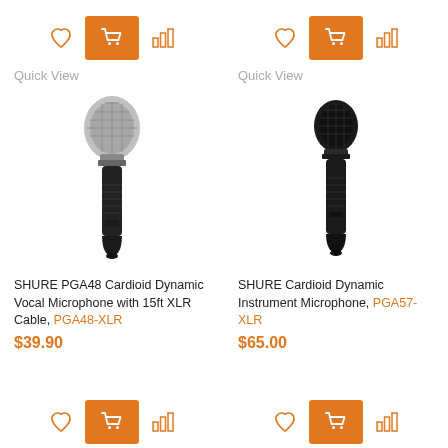[Figure (screenshot): Top action icons row for product 1: heart (wishlist), orange cart button, bar chart icon]
[Figure (screenshot): Top action icons row for product 2: heart (wishlist), orange cart button, bar chart icon]
Quick View
Quick View
[Figure (photo): SHURE PGA48 Cardioid Dynamic Vocal Microphone with silver mesh head and black body]
[Figure (photo): SHURE Cardioid Dynamic Instrument Microphone PGA57-XLR with black mesh head and black body]
SHURE PGA48 Cardioid Dynamic Vocal Microphone with 15ft XLR Cable, PGA48-XLR
$39.90
SHURE Cardioid Dynamic Instrument Microphone, PGA57-XLR
$65.00
[Figure (screenshot): Bottom action icons row for product 1: heart (wishlist), orange cart button, bar chart icon]
[Figure (screenshot): Bottom action icons row for product 2: heart (wishlist), orange cart button, bar chart icon]